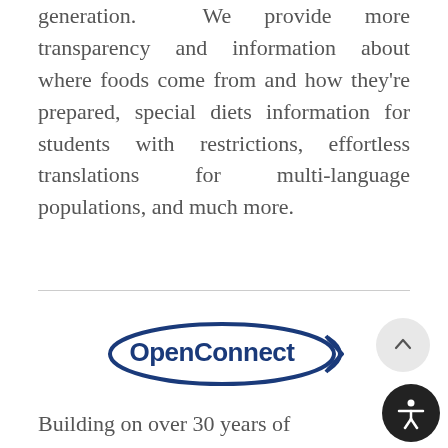generation. We provide more transparency and information about where foods come from and how they're prepared, special diets information for students with restrictions, effortless translations for multi-language populations, and much more.
[Figure (logo): OpenConnect logo — dark blue ellipse/swoosh with bold blue text 'OpenConnect' and an arrow pointing right]
Building on over 30 years of